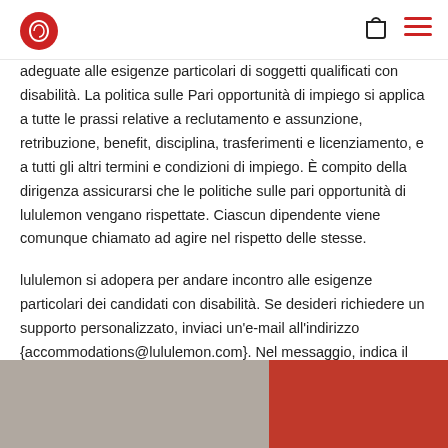lululemon logo, shopping bag icon, hamburger menu
adeguate alle esigenze particolari di soggetti qualificati con disabilità. La politica sulle Pari opportunità di impiego si applica a tutte le prassi relative a reclutamento e assunzione, retribuzione, benefit, disciplina, trasferimenti e licenziamento, e a tutti gli altri termini e condizioni di impiego. È compito della dirigenza assicurarsi che le politiche sulle pari opportunità di lululemon vengano rispettate. Ciascun dipendente viene comunque chiamato ad agire nel rispetto delle stesse.
lululemon si adopera per andare incontro alle esigenze particolari dei candidati con disabilità. Se desideri richiedere un supporto personalizzato, inviaci un'e-mail all'indirizzo {accommodations@lululemon.com}. Nel messaggio, indica il tipo di posizione a cui sei interessato, la relativa sede e la natura della tua richiesta.
[Figure (photo): Bottom strip showing two image panels: left panel is gray/beige fabric texture, right panel is red/crimson color]